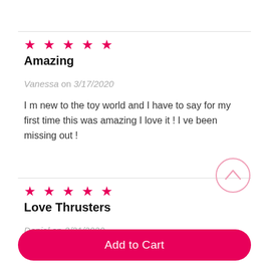[Figure (other): Five pink/magenta star icons representing a 5-star rating]
Amazing
Vanessa on 3/17/2020
I m new to the toy world and I have to say for my first time this was amazing I love it ! I ve been missing out !
[Figure (other): Five pink/magenta star icons representing a 5-star rating]
Love Thrusters
Daniel on 3/31/2020
Add to Cart